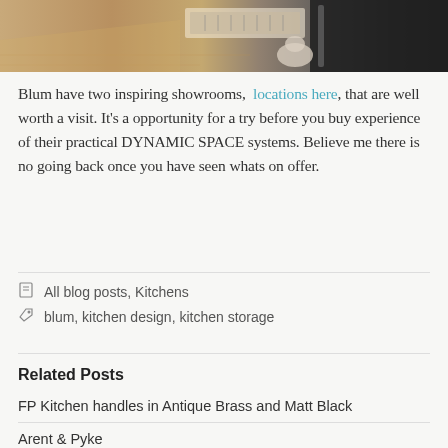[Figure (photo): Overhead view of a modern kitchen with open drawer showing organized utensils and a person visible in the background, dark cabinetry on the right]
Blum have two inspiring showrooms, locations here, that are well worth a visit. It's a opportunity for a try before you buy experience of their practical DYNAMIC SPACE systems. Believe me there is no going back once you have seen whats on offer.
All blog posts, Kitchens
blum, kitchen design, kitchen storage
Related Posts
FP Kitchen handles in Antique Brass and Matt Black
Arent & Pyke